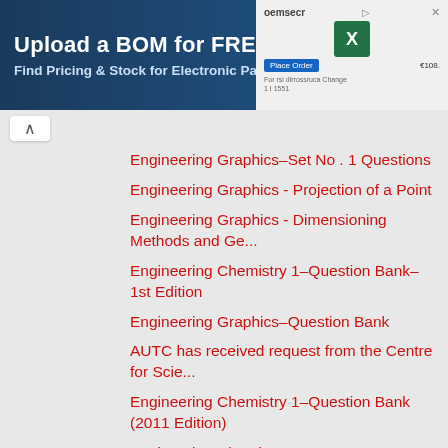[Figure (screenshot): Advertisement banner for oemsecrets.com: 'Upload a BOM for FREE – Find Pricing & Stock for Electronic Parts' with Excel icon and order interface on the right side.]
Engineering Graphics–Set No . 1 Questions
Engineering Graphics - Projection of a Point
Engineering Graphics - Dimensioning Methods and Ge...
Engineering Chemistry 1–Question Bank–1st Edition
Engineering Graphics–Question Bank
AUTC has received request from the Centre for Scie...
Engineering Chemistry 1–Question Bank (2011 Edition)
Engineering Chemistry 1–CHARACTERISTICS and HARDNE...